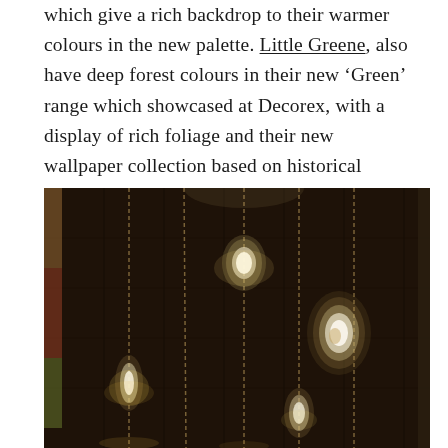which give a rich backdrop to their warmer colours in the new palette. Little Greene, also have deep forest colours in their new ‘Green’  range which showcased at Decorex, with a display of rich foliage and their new wallpaper collection based on historical designs.
[Figure (photo): Dark photograph showing multiple glass crystal pendant lights hanging from brass/gold chains against a dark wooden background. The pendants glow with warm light.]